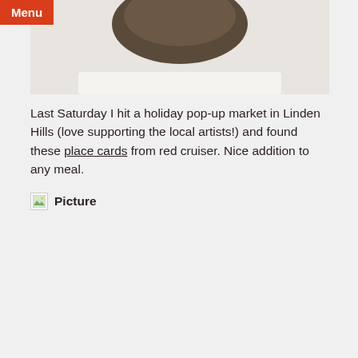[Figure (photo): Partial top image of an object on a white background, cropped at top of page]
Last Saturday I hit a holiday pop-up market in Linden Hills (love supporting the local artists!) and found these place cards from red cruiser. Nice addition to any meal.
[Figure (photo): Broken/placeholder image with label 'Picture']